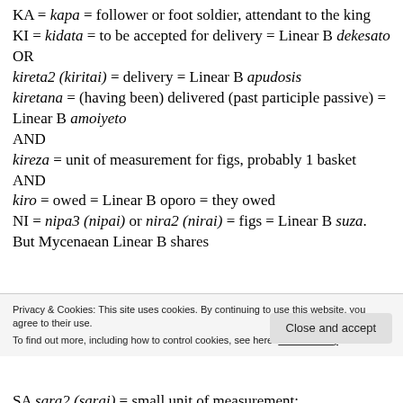KA = kapa = follower or foot soldier, attendant to the king
KI = kidata = to be accepted for delivery = Linear B dekesato
OR
kireta2 (kiritai) = delivery = Linear B apudosis
kiretana = (having been) delivered (past participle passive) = Linear B amoiyeto
AND
kireza = unit of measurement for figs, probably 1 basket
AND
kiro = owed = Linear B oporo = they owed
NI = nipa3 (nipai) or nira2 (nirai) = figs = Linear B suza. But Mycenaean Linear B shares
Privacy & Cookies: This site uses cookies. By continuing to use this website, you agree to their use.
To find out more, including how to control cookies, see here: Cookie Policy
Close and accept
SA sara2 (sarai) = small unit of measurement: